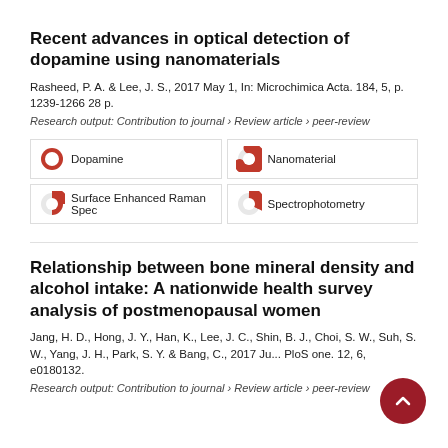Recent advances in optical detection of dopamine using nanomaterials
Rasheed, P. A. & Lee, J. S., 2017 May 1, In: Microchimica Acta. 184, 5, p. 1239-1266 28 p.
Research output: Contribution to journal › Review article › peer-review
[Figure (infographic): Four keyword badges with circular percentage icons: Dopamine (100%, full red circle), Nanomaterial (~70%, red arc), Surface Enhanced Raman Spec (~50%, red arc), Spectrophotometry (~40%, red arc)]
Relationship between bone mineral density and alcohol intake: A nationwide health survey analysis of postmenopausal women
Jang, H. D., Hong, J. Y., Han, K., Lee, J. C., Shin, B. J., Choi, S. W., Suh, S. W., Yang, J. H., Park, S. Y. & Bang, C., 2017 Ju... PloS one. 12, 6, e0180132.
Research output: Contribution to journal › Review article › peer-review